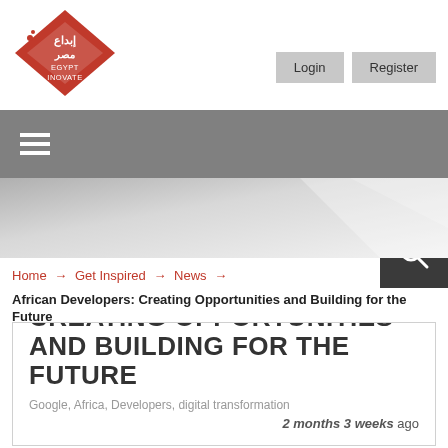[Figure (logo): Egypt Innovate logo — red diamond with Arabic text and 'EGYPT INNOVATE' text]
[Figure (other): Navigation bar with hamburger menu icon on the left and search icon on dark background on the right]
[Figure (photo): Hero banner image showing blurred light background]
Home → Get Inspired → News →
African Developers: Creating Opportunities and Building for the Future
AFRICAN DEVELOPERS: CREATING OPPORTUNITIES AND BUILDING FOR THE FUTURE
Google, Africa, Developers, digital transformation
2 months 3 weeks ago